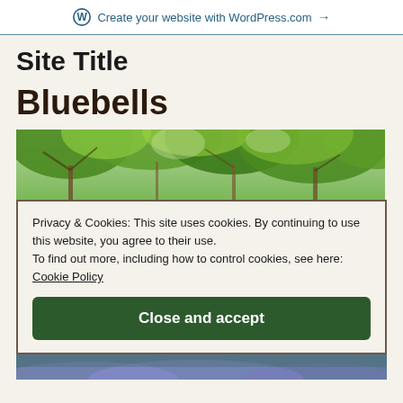Create your website with WordPress.com →
Site Title
Bluebells
[Figure (photo): Forest canopy photo showing green trees from below with sunlight filtering through leaves]
Privacy & Cookies: This site uses cookies. By continuing to use this website, you agree to their use. To find out more, including how to control cookies, see here: Cookie Policy
Close and accept